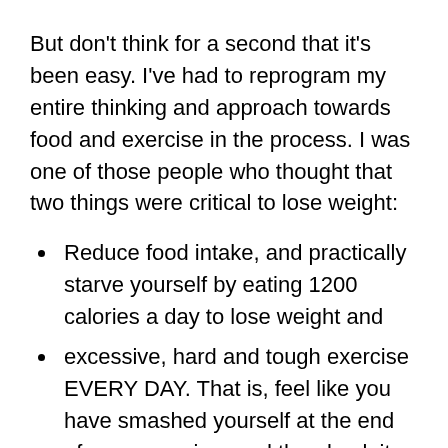But don't think for a second that it's been easy. I've had to reprogram my entire thinking and approach towards food and exercise in the process. I was one of those people who thought that two things were critical to lose weight:
Reduce food intake, and practically starve yourself by eating 1200 calories a day to lose weight and
excessive, hard and tough exercise EVERY DAY. That is, feel like you have smashed yourself at the end of every session, and then back it all up and try to do it again the next day!